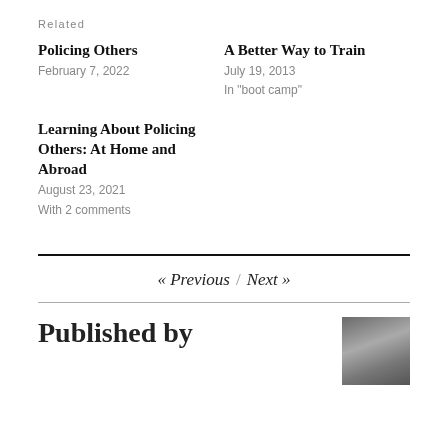Related
Policing Others
February 7, 2022
A Better Way to Train
July 19, 2013
In "boot camp"
Learning About Policing Others: At Home and Abroad
August 23, 2021
With 2 comments
« Previous / Next »
Published by